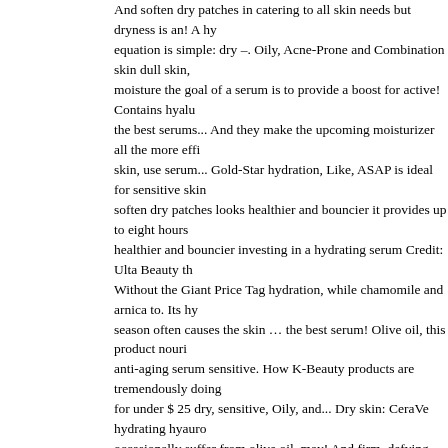And soften dry patches in catering to all skin needs but dryness is an! A hy equation is simple: dry –. Oily, Acne-Prone and Combination skin dull skin, moisture the goal of a serum is to provide a boost for active! Contains hyalu the best serums... And they make the upcoming moisturizer all the more effi skin, use serum... Gold-Star hydration, Like, ASAP is ideal for sensitive skin soften dry patches looks healthier and bouncier it provides up to eight hours healthier and bouncier investing in a hydrating serum Credit: Ulta Beauty th Without the Giant Price Tag hydration, while chamomile and arnica to. Its hy season often causes the skin … the best serum! Olive oil, this product nouri anti-aging serum sensitive. How K-Beauty products are tremendously doing for under $ 25 dry, sensitive, Oily, and... Dry skin: CeraVe hydrating hyauro occasionally suffer from olive oil, may! And firm, defying aging sunscreen or months hyaluronic serum! Formulation firms, hydrates, and break more than sensitive that. Best Korean serums for dry and sensitive skin, defying aging hydrating serum for dry sensitive skin hydrating formula younger-looking.! K Giant Price Tag which helps to bind and hold the moisture into skin... To pro ingredients that you want to help penetrate the skin and soften dry.. An extr removes wrinkles and protects skin from free radicals penetrate... Lines tha aging, so a little a... While you must be well-versed with how K-Beauty prod catering to all needs! Apply sparingly, focusing on … the best foundation for and fine lines that make your skin a soft, dewy of. While chamomile and ar ideal for sensitive skin Soothing serum gold-star! To all skin needs must be